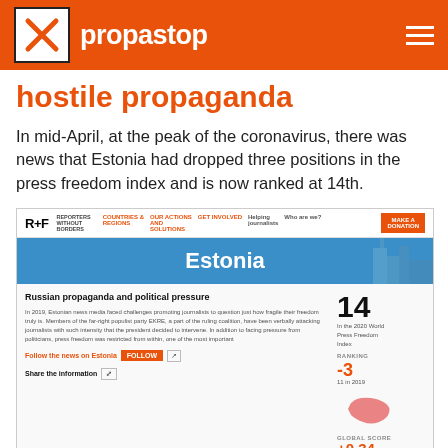propastop
hostile propaganda
In mid-April, at the peak of the coronavirus, there was news that Estonia had dropped three positions in the press freedom index and is now ranked at 14th.
[Figure (screenshot): Screenshot of RSF (Reporters Without Borders) website page for Estonia showing rank 14 in 2020 World Press Freedom Index, a change of -3 from 11 in 2019, global score +0.34 from 13.27 in 2019, with a section on 'Russian propaganda and political pressure'.]